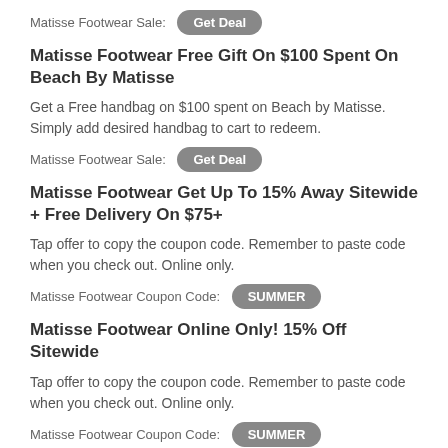Matisse Footwear Sale: Get Deal
Matisse Footwear Free Gift On $100 Spent On Beach By Matisse
Get a Free handbag on $100 spent on Beach by Matisse. Simply add desired handbag to cart to redeem.
Matisse Footwear Sale: Get Deal
Matisse Footwear Get Up To 15% Away Sitewide + Free Delivery On $75+
Tap offer to copy the coupon code. Remember to paste code when you check out. Online only.
Matisse Footwear Coupon Code: SUMMER
Matisse Footwear Online Only! 15% Off Sitewide
Tap offer to copy the coupon code. Remember to paste code when you check out. Online only.
Matisse Footwear Coupon Code: SUMMER
Matisse Footwear Save 15% Off Sitewide + Free Shipping Over $75+